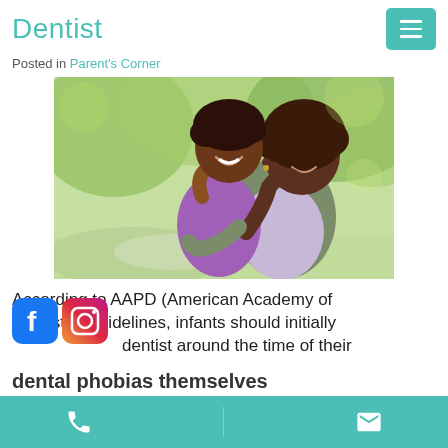Dentist
Posted in Parent's Corner
[Figure (photo): A smiling Black woman holding a young child, both laughing outdoors in a park setting with green trees in the background. The child wears a purple top.]
According to AAPD (American Academy of Dentistry) guidelines, infants should initially [see] dentist around the time of their [first birthday, before they develop] dental phobias themselves
[Figure (logo): Facebook logo icon (blue with white f)]
[Figure (logo): Instagram logo icon (gradient purple/orange with camera)]
Phone contact | Email contact (teal bottom navigation bar)